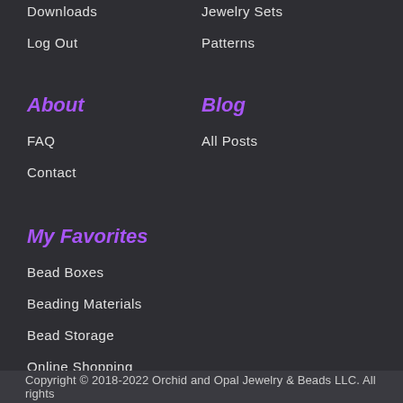Downloads
Log Out
Jewelry Sets
Patterns
About
FAQ
Contact
Blog
All Posts
My Favorites
Bead Boxes
Beading Materials
Bead Storage
Online Shopping
Copyright © 2018-2022 Orchid and Opal Jewelry & Beads LLC. All rights